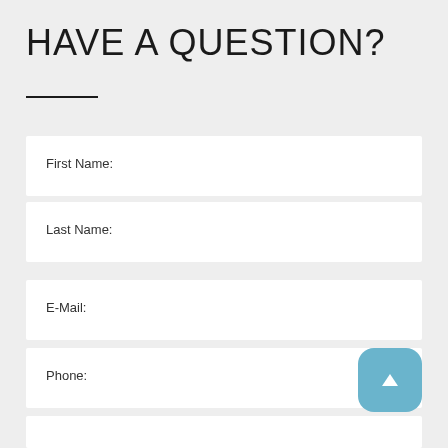HAVE A QUESTION?
First Name:
Last Name:
E-Mail:
Phone: